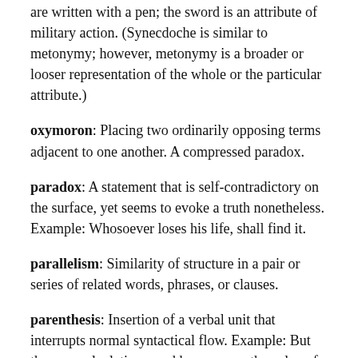are written with a pen; the sword is an attribute of military action. (Synecdoche is similar to metonymy; however, metonymy is a broader or looser representation of the whole or the particular attribute.)
oxymoron: Placing two ordinarily opposing terms adjacent to one another. A compressed paradox.
paradox: A statement that is self-contradictory on the surface, yet seems to evoke a truth nonetheless. Example: Whosoever loses his life, shall find it.
parallelism: Similarity of structure in a pair or series of related words, phrases, or clauses.
parenthesis: Insertion of a verbal unit that interrupts normal syntactical flow. Example: But the new calculations–and here we see the value of relying upon up-to-date information–showed that man-powered